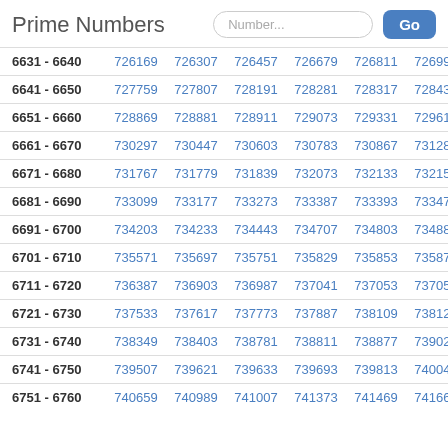Prime Numbers
| Range | P1 | P2 | P3 | P4 | P5 | P6 |
| --- | --- | --- | --- | --- | --- | --- |
| 6631 - 6640 | 726169 | 726307 | 726457 | 726679 | 726811 | 726991 |
| 6641 - 6650 | 727759 | 727807 | 728191 | 728281 | 728317 | 728437 |
| 6651 - 6660 | 728869 | 728881 | 728911 | 729073 | 729331 | 729613 |
| 6661 - 6670 | 730297 | 730447 | 730603 | 730783 | 730867 | 731287 |
| 6671 - 6680 | 731767 | 731779 | 731839 | 732073 | 732133 | 732157 |
| 6681 - 6690 | 733099 | 733177 | 733273 | 733387 | 733393 | 733477 |
| 6691 - 6700 | 734203 | 734233 | 734443 | 734707 | 734803 | 734887 |
| 6701 - 6710 | 735571 | 735697 | 735751 | 735829 | 735853 | 735871 |
| 6711 - 6720 | 736387 | 736903 | 736987 | 737041 | 737053 | 737059 |
| 6721 - 6730 | 737533 | 737617 | 737773 | 737887 | 738109 | 738121 |
| 6731 - 6740 | 738349 | 738403 | 738781 | 738811 | 738877 | 739021 |
| 6741 - 6750 | 739507 | 739621 | 739633 | 739693 | 739813 | 740041 |
| 6751 - 6760 | 740659 | 740989 | 741007 | 741373 | 741469 | 741661 |